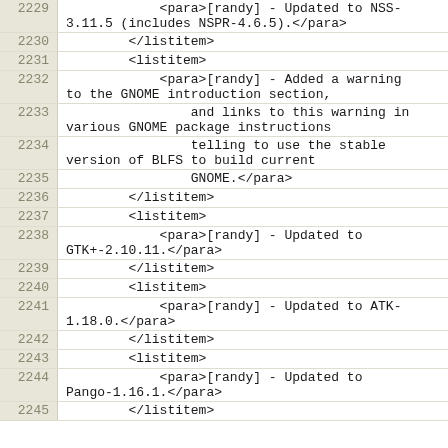2229    <para>[randy] - Updated to NSS-3.11.5 (includes NSPR-4.6.5).</para>
2230    </listitem>
2231    <listitem>
2232    <para>[randy] - Added a warning to the GNOME introduction section,
2233        and links to this warning in various GNOME package instructions
2234        telling to use the stable version of BLFS to build current
2235        GNOME.</para>
2236    </listitem>
2237    <listitem>
2238    <para>[randy] - Updated to GTK+-2.10.11.</para>
2239    </listitem>
2240    <listitem>
2241    <para>[randy] - Updated to ATK-1.18.0.</para>
2242    </listitem>
2243    <listitem>
2244    <para>[randy] - Updated to Pango-1.16.1.</para>
2245    </listitem>